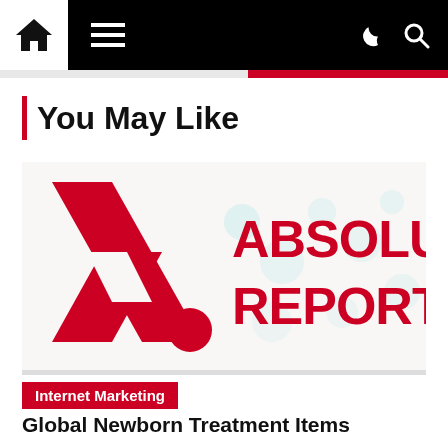Navigation bar with home icon, hamburger menu, moon icon, and search icon
You May Like
[Figure (logo): Absolute Reports logo — red stylized A/R letter mark on white/light background with text 'ABSOLUTE REPORTS' in red]
Internet Marketing
Global Newborn Treatment Items